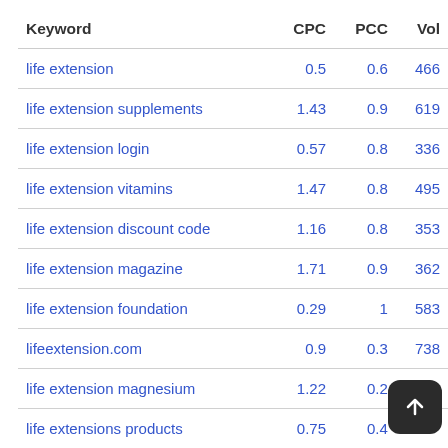| Keyword | CPC | PCC | Vol |
| --- | --- | --- | --- |
| life extension | 0.5 | 0.6 | 466 |
| life extension supplements | 1.43 | 0.9 | 619 |
| life extension login | 0.57 | 0.8 | 336 |
| life extension vitamins | 1.47 | 0.8 | 495 |
| life extension discount code | 1.16 | 0.8 | 353 |
| life extension magazine | 1.71 | 0.9 | 362 |
| life extension foundation | 0.29 | 1 | 583 |
| lifeextension.com | 0.9 | 0.3 | 738 |
| life extension magnesium | 1.22 | 0.2 |  |
| life extensions products | 0.75 | 0.4 |  |